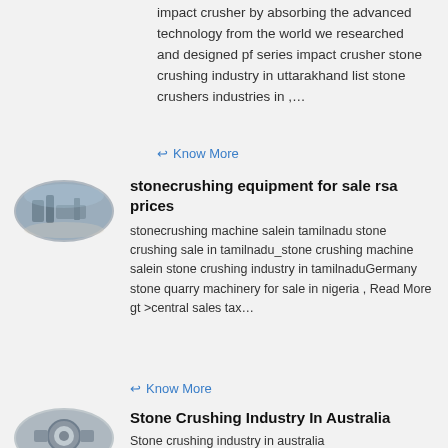impact crusher by absorbing the advanced technology from the world we researched and designed pf series impact crusher stone crushing industry in uttarakhand list stone crushers industries in ,...
Know More
[Figure (photo): Oval-shaped photo of stone crushing industrial equipment, outdoor machinery setup]
stonecrushing equipment for sale rsa prices
stonecrushing machine salein tamilnadu stone crushing sale in tamilnadu_stone crushing machine salein stone crushing industry in tamilnaduGermany stone quarry machinery for sale in nigeria , Read More gt >central sales tax...
Know More
[Figure (photo): Oval-shaped photo of industrial stone crushing machinery, indoor/close-up view]
Stone Crushing Industry In Australia
Stone crushing industry in australia